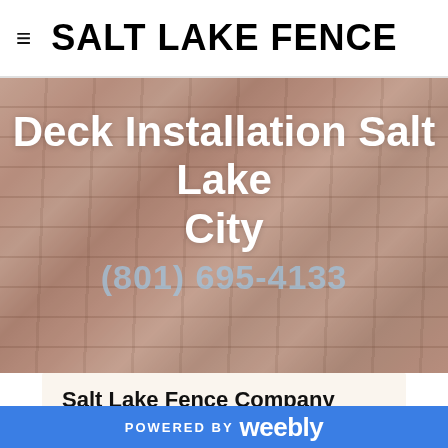≡  SALT LAKE FENCE
Deck Installation Salt Lake City
(801) 695-4133
Salt Lake Fence Company
[Figure (photo): Close-up photo of wooden deck boards, partially visible at the bottom of the page]
POWERED BY weebly